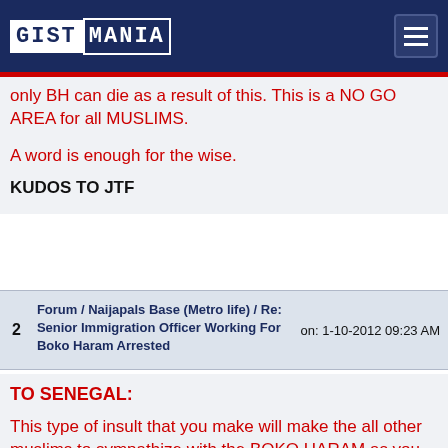GISTMANIA
only BH can die as a result of this. This is a NO GO AREA for all MUSLIMS.

A word is enough for the wise.
KUDOS TO JTF
2  Forum / Naijapals Base (Metro life) / Re: Senior Immigration Officer Working For Boko Haram Arrested  on: 1-10-2012 09:23 AM
TO SENEGAL:

This type of insult that you make will make the all other muslims to sympathize with the BOKO HARAM as you claimed. I advise you in the name of